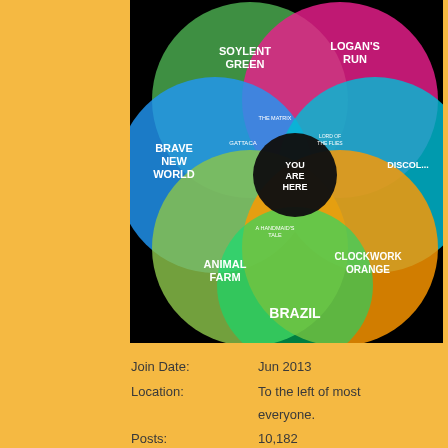[Figure (infographic): Venn diagram showing overlapping dystopian fiction universes: Soylent Green, Logan's Run, Brave New World, Animal Farm, Clockwork Orange, Brazil, with 'YOU ARE HERE' in the center black circle. Smaller labels inside overlaps include Gattaca, The Matrix, Lord of the Flies, and others.]
Join Date: Jun 2013
Location: To the left of most everyone.
Posts: 10,182
Country: .VE (Venezuela flag)
Gender: (male symbol)
Sounds all good then, if
Anyway, all the VIP ticke ones, not so much
No
That would make sense and be make sense or make anything e
It depends on your filing status, also an alternative minimum tax
“For me, it is far better to grasp persist in delusion, however sat
— Carl Sagan
08-08-2022 06:18 AM
herbertwest